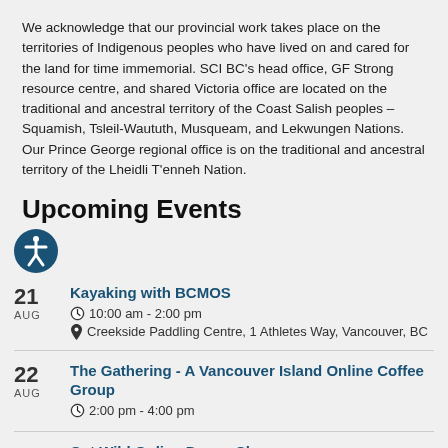We acknowledge that our provincial work takes place on the territories of Indigenous peoples who have lived on and cared for the land for time immemorial. SCI BC's head office, GF Strong resource centre, and shared Victoria office are located on the traditional and ancestral territory of the Coast Salish peoples – Squamish, Tsleil-Waututh, Musqueam, and Lekwungen Nations. Our Prince George regional office is on the traditional and ancestral territory of the Lheidli T'enneh Nation.
Upcoming Events
21 AUG — Kayaking with BCMOS — 10:00 am - 2:00 pm — Creekside Paddling Centre, 1 Athletes Way, Vancouver, BC
22 AUG — The Gathering - A Vancouver Island Online Coffee Group — 2:00 pm - 4:00 pm
22 AUG — Get Wild Online Dance Class — 3:30 pm - 4:30 pm